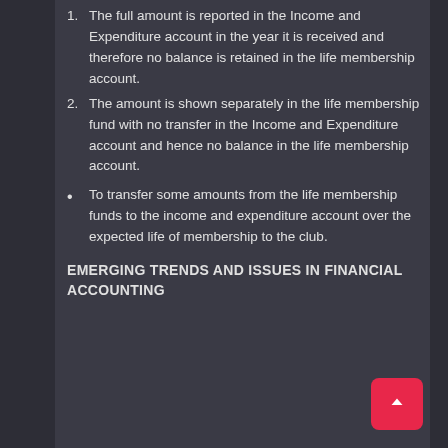1. The full amount is reported in the Income and Expenditure account in the year it is received and therefore no balance is retained in the life membership account.
2. The amount is shown separately in the life membership fund with no transfer in the Income and Expenditure account and hence no balance in the life membership account.
To transfer some amounts from the life membership funds to the income and expenditure account over the expected life of membership to the club.
EMERGING TRENDS AND ISSUES IN FINANCIAL ACCOUNTING